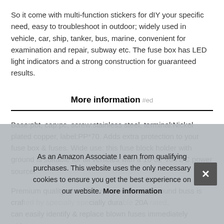So it come with multi-function stickers for dIY your specific need, easy to troubleshoot in outdoor; widely used in vehicle, car, ship, tanker, bus, marine, convenient for examination and repair, subway etc. The fuse box has LED light indicators and a strong construction for guaranteed results.
More information #ed
Base:pbt, cap:pc, screw:stainless steel, terminal:Nickel plated copper, label:PP*70. Adds extra protection to your fuse box & fuses. Wide use: this fuse block holder with ground is suitable for all vehicles with a 10-32 Volt DC power source.
Premium quality: the 12 way fuse box with ground buss is crafted... specially... durable... 20A... can easily identify & replace blown fuses immediately without
As an Amazon Associate I earn from qualifying purchases. This website uses the only necessary cookies to ensure you get the best experience on our website. More information